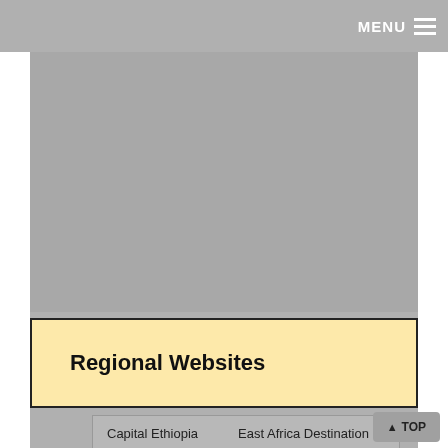MENU
[Figure (other): Large grey advertisement or image placeholder area]
Regional Websites
| Capital Ethiopia | East Africa Destination |
| The Reporter | Ghana Today |
| Tigrai Online | Weekend Post |